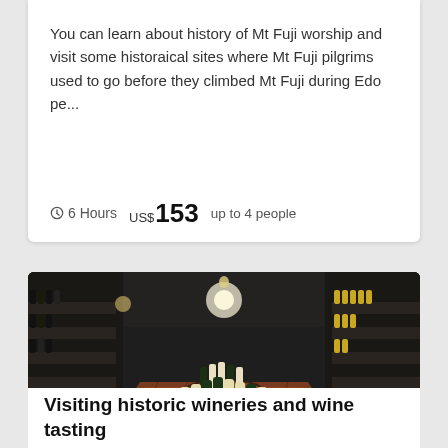You can learn about history of Mt Fuji worship and visit some historaical sites where Mt Fuji pilgrims used to go before they climbed Mt Fuji during Edo pe...
⊙ 6 Hours   US$ 153   up to 4 people
[Figure (photo): Interior of a wine cellar/store with rows of wine bottles on shelves along both sides, a brick floor, barrels in the center with wine bottles displayed on top, and overhead lighting]
Visiting historic wineries and wine tasting